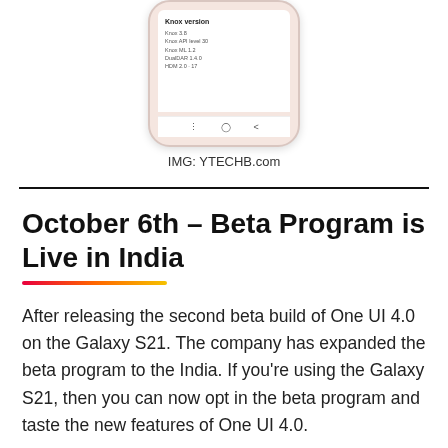[Figure (screenshot): Bottom portion of a Samsung Galaxy S21 phone showing Knox version information screen with entries: Knox 3.8, Knox API level 30, Knox ML 1.2, DualDAR 1.4.0, HDM 2.0-17, and navigation bar below.]
IMG: YTECHB.com
October 6th – Beta Program is Live in India
After releasing the second beta build of One UI 4.0 on the Galaxy S21. The company has expanded the beta program to the India. If you're using the Galaxy S21, then you can now opt in the beta program and taste the new features of One UI 4.0.